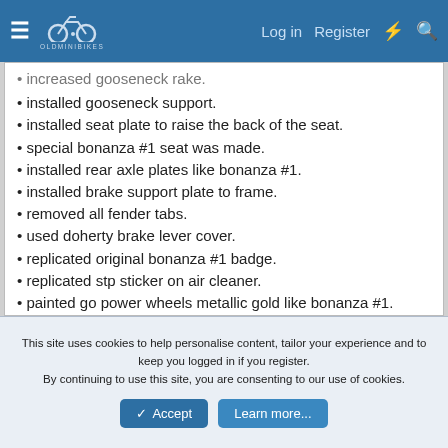OldMiniBikes forum navigation header with Log in, Register, lightning bolt, and search icons
increased gooseneck rake.
installed gooseneck support.
installed seat plate to raise the back of the seat.
special bonanza #1 seat was made.
installed rear axle plates like bonanza #1.
installed brake support plate to frame.
removed all fender tabs.
used doherty brake lever cover.
replicated original bonanza #1 badge.
replicated stp sticker on air cleaner.
painted go power wheels metallic gold like bonanza #1.
used double head carlisle 4.10 x 3.50 x 6 tires.
incorporated springs into lower front shocks.
incorporated collars on to lower front shocks.
This site uses cookies to help personalise content, tailor your experience and to keep you logged in if you register.
By continuing to use this site, you are consenting to our use of cookies.